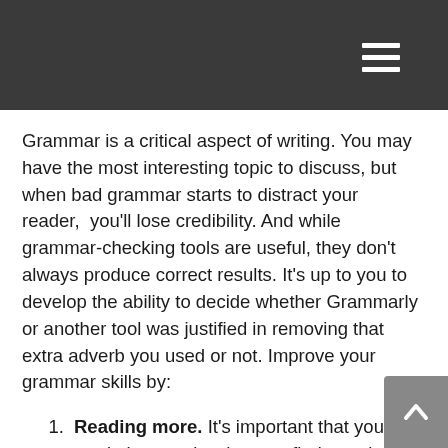Grammar is a critical aspect of writing. You may have the most interesting topic to discuss, but when bad grammar starts to distract your reader, you'll lose credibility. And while grammar-checking tools are useful, they don't always produce correct results. It's up to you to develop the ability to decide whether Grammarly or another tool was justified in removing that extra adverb you used or not. Improve your grammar skills by:
Reading more. It's important that you read about topics that you find genuinely interesting and learn how the best writers structure their sentences and use punctuation. Also seek out grammar guides that explain the finer points of language. Since many people haven't had grammar classes since grade school—and because language is always